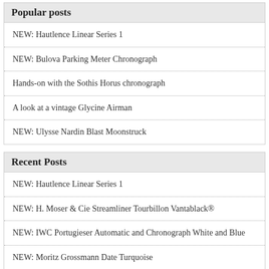Popular posts
NEW: Hautlence Linear Series 1
NEW: Bulova Parking Meter Chronograph
Hands-on with the Sothis Horus chronograph
A look at a vintage Glycine Airman
NEW: Ulysse Nardin Blast Moonstruck
Recent Posts
NEW: Hautlence Linear Series 1
NEW: H. Moser & Cie Streamliner Tourbillon Vantablack®
NEW: IWC Portugieser Automatic and Chronograph White and Blue
NEW: Moritz Grossmann Date Turquoise